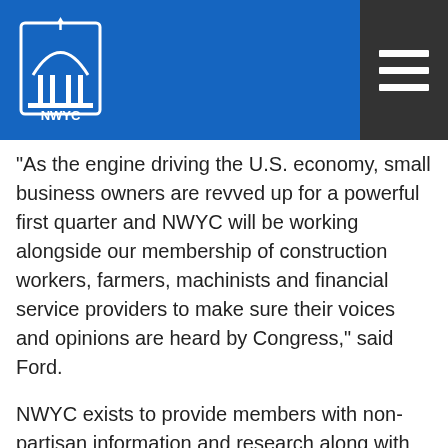NWYC logo and navigation
“As the engine driving the U.S. economy, small business owners are revved up for a powerful first quarter and NWYC will be working alongside our membership of construction workers, farmers, machinists and financial service providers to make sure their voices and opinions are heard by Congress,” said Ford.
NWYC exists to provide members with non-partisan information and research along with the tools they can use to connect with their representatives in Washington and advocate for the policies and actions that will help their small business be successful for their families, their employees and their communities
Demographic Profile
NWYC’s Q4 2016 Index on the Sentiments of Small